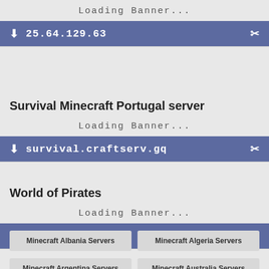Loading Banner...
25.64.129.63
Survival Minecraft Portugal server
Loading Banner...
survival.craftserv.gq
World of Pirates
Loading Banner...
51.178.133.187
Minecraft Albania Servers
Minecraft Algeria Servers
Minecraft Argentina Servers
Minecraft Australia Servers